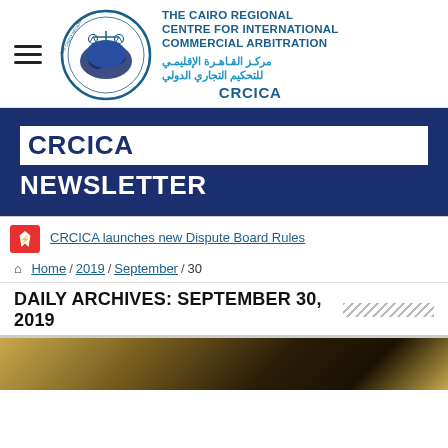[Figure (logo): CRCICA circular logo with scales of justice and world map, alongside English and Arabic organization name text and CRCICA abbreviation]
CRCICA NEWSLETTER
CRCICA launches new Dispute Board Rules
Home / 2019 / September / 30
DAILY ARCHIVES: SEPTEMBER 30, 2019
[Figure (photo): Bottom strip showing a dark golden/amber toned photograph, partially visible]